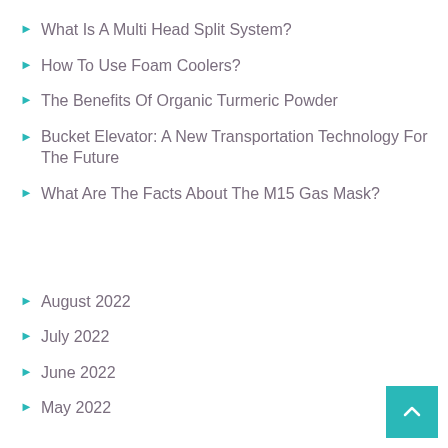What Is A Multi Head Split System?
How To Use Foam Coolers?
The Benefits Of Organic Turmeric Powder
Bucket Elevator: A New Transportation Technology For The Future
What Are The Facts About The M15 Gas Mask?
August 2022
July 2022
June 2022
May 2022